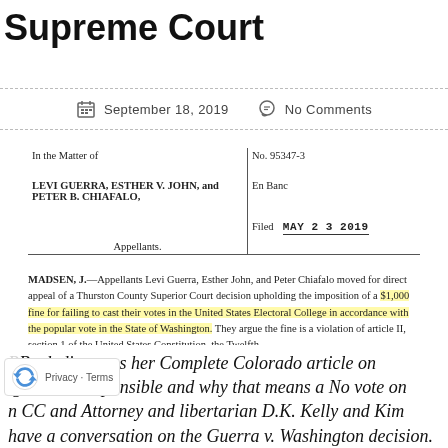Supreme Court
September 18, 2019   No Comments
[Figure (screenshot): Washington State Supreme Court case filing header showing: In the Matter of LEVI GUERRA, ESTHER V. JOHN, and PETER B. CHIAFALO, Appellants. No. 95347-3, En Banc, Filed MAY 2 3 2019]
MADSEN, J.—Appellants Levi Guerra, Esther John, and Peter Chiafalo moved for direct appeal of a Thurston County Superior Court decision upholding the imposition of a $1,000 fine for failing to cast their votes in the United States Electoral College in accordance with the popular vote in the State of Washington. They argue the fine is a violation of article II, section 1 of the United States Constitution, the Twelfth
Buck discusses her Complete Colorado article on legislators responsible and why that means a No vote on CC and Attorney and libertarian D.K. Kelly and Kim have a conversation on the Guerra v. Washington decision.